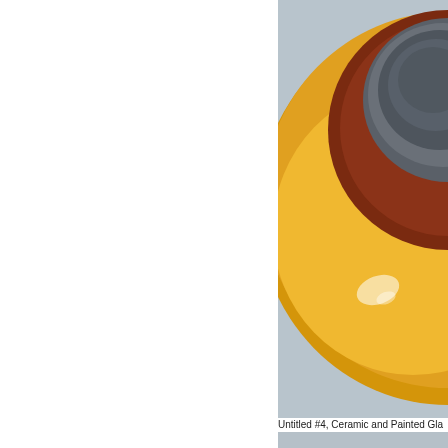[Figure (photo): Close-up photograph of a ceramic piece with painted glaze, showing a circular form with a dark gray/blue center, surrounded by a dark red-brown ring, and an outer yellow-orange glaze on a light blue-gray background wall.]
Untitled #4, Ceramic and Painted Gla
[Figure (photo): Partial view of a light blue-gray textured background/wall surface.]